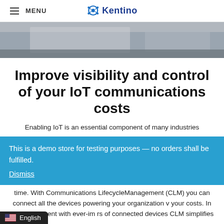MENU | Kentino
[Figure (photo): Blurred office/tech environment hero image, gray-blue tones]
Improve visibility and control of your IoT communications costs
Enabling IoT is an essential component of many industries
This is a demo store for testing purposes — no orders shall be fulfilled.
Dismiss
time. With Communications LifecycleManagement (CLM) you can connect all the devices powering your organization v your costs. In an environment with ever-im rs of connected devices CLM simplifies